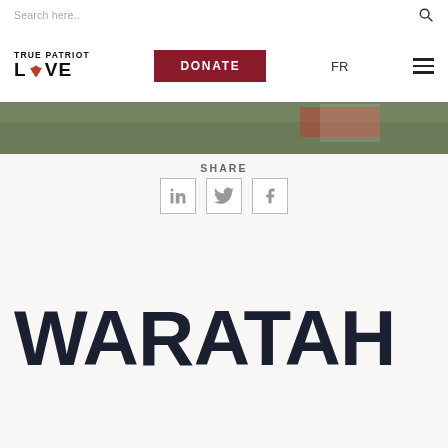Search here..
[Figure (logo): True Patriot Love logo with maple leaf]
DONATE
FR
[Figure (photo): Hero image strip showing military/outdoor scene with Canadian flag]
SHARE
[Figure (infographic): Social share icons: LinkedIn, Twitter, Facebook]
WARATAH